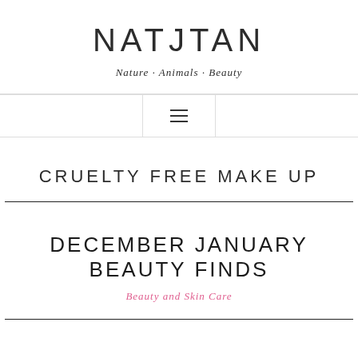NATJTAN
Nature · Animals · Beauty
[Figure (other): Hamburger menu icon (three horizontal lines)]
CRUELTY FREE MAKE UP
DECEMBER JANUARY BEAUTY FINDS
Beauty and Skin Care